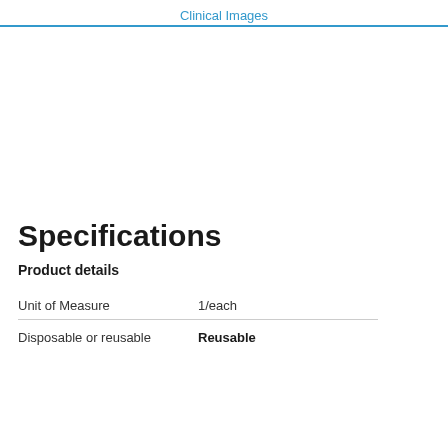Clinical Images
Specifications
Product details
| Unit of Measure | 1/each |
| Disposable or reusable | Reusable |